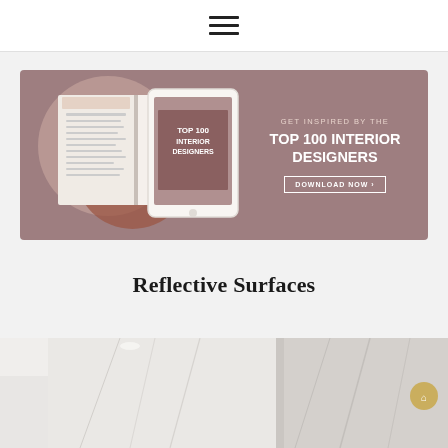☰ (hamburger menu)
[Figure (illustration): Promotional banner for 'Top 100 Interior Designers' ebook/magazine. Shows an open book on the left and a tablet on the right displaying 'Top 100 Interior Designers' cover. Right side has text: GET INSPIRED BY THE TOP 100 INTERIOR DESIGNERS, with a DOWNLOAD NOW button. Background is dusty rose/mauve with circular shapes.]
Reflective Surfaces
[Figure (photo): Interior design photo showing a bright white modern room with marble wall panels and reflective surfaces, partially visible at bottom of page.]